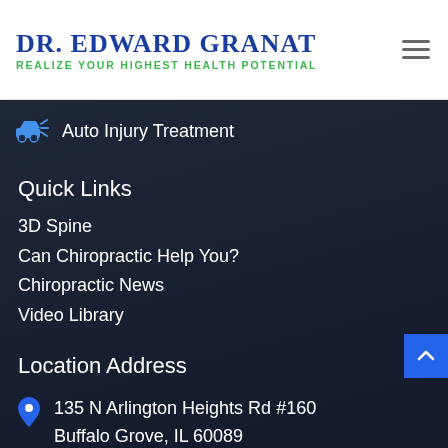Dr. Edward Granat
Realize Your Highest Health Potential
Auto Injury Treatment
Quick Links
3D Spine
Can Chiropractic Help You?
Chiropractic News
Video Library
Location Address
135 N Arlington Heights Rd #160
Buffalo Grove, IL 60089